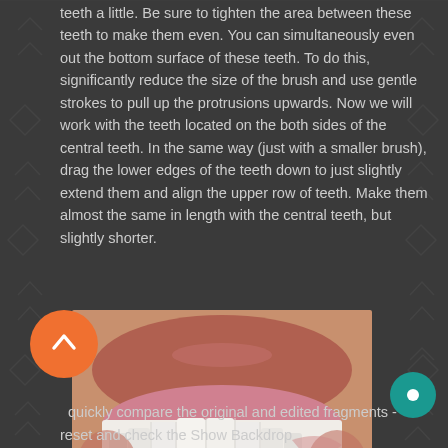teeth a little. Be sure to tighten the area between these teeth to make them even. You can simultaneously even out the bottom surface of these teeth. To do this, significantly reduce the size of the brush and use gentle strokes to pull up the protrusions upwards. Now we will work with the teeth located on the both sides of the central teeth. In the same way (just with a smaller brush), drag the lower edges of the teeth down to just slightly extend them and align the upper row of teeth. Make them almost the same in length with the central teeth, but slightly shorter.
[Figure (photo): Close-up photo of a human smile showing upper and lower teeth with lips visible]
quickly compare the original and edited fragments - reset and check the Show Backdrop